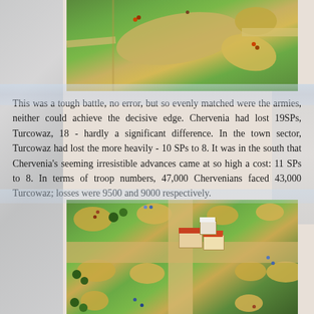[Figure (photo): Top-down view of a miniature wargame battlefield with green felt terrain, sandy/yellow terrain patches, and small military figures. Roads or paths visible as tan strips.]
This was a tough battle, no error, but so evenly matched were the armies, neither could achieve the decisive edge. Chervenia had lost 19SPs, Turcowaz, 18 - hardly a significant difference. In the town sector, Turcowaz had lost the more heavily - 10 SPs to 8. It was in the south that Chervenia's seeming irresistible advances came at so high a cost: 11 SPs to 8. In terms of troop numbers, 47,000 Chervenians faced 43,000 Turcowaz; losses were 9500 and 9000 respectively.
[Figure (photo): Aerial view of a miniature wargame battlefield with green felt terrain, sandy terrain patches, trees, roads intersecting in cross pattern, and model buildings with orange/red roofs representing a town. Military figures positioned across the board.]